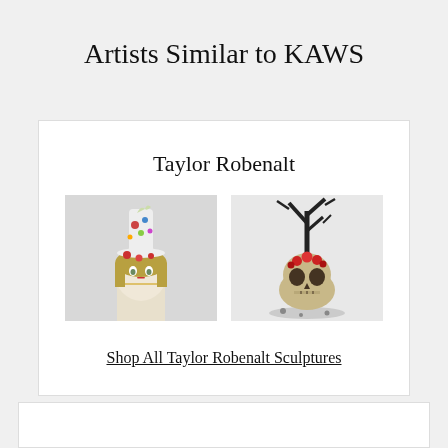Artists Similar to KAWS
Taylor Robenalt
[Figure (photo): Two Taylor Robenalt ceramic head sculptures: left is a female face with floral and bird headdress on light background; right is a skull with dark branching antler-like structure and red flowers on white background.]
Shop All Taylor Robenalt Sculptures